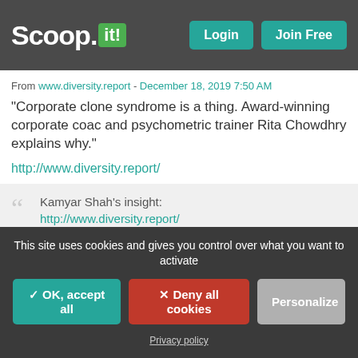Scoop.it! Login Join Free
From www.diversity.report - December 18, 2019 7:50 AM
“Corporate clone syndrome is a thing. Award-winning corporate coach and psychometric trainer Rita Chowdhry explains why.”
http://www.diversity.report/
Kamyar Shah’s insight:
http://www.diversity.report/
email   mor
Scooped by Kamyar Shah
This site uses cookies and gives you control over what you want to activate
✓ OK, accept all   × Deny all cookies   Personalize
Privacy policy